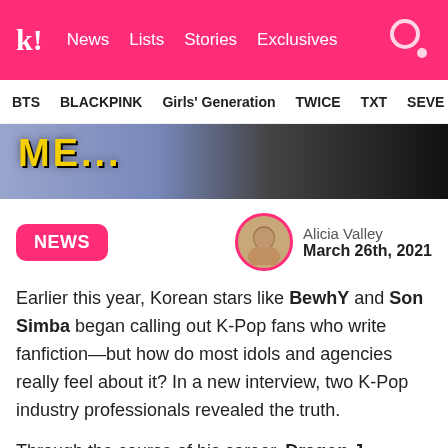k! News Lists Stories Exclusives
BTS BLACKPINK Girls' Generation TWICE TXT SEVE
[Figure (photo): Hero banner image showing text 'ME...' in yellow on a purple/blue background with a person in dark clothing on the right side]
NEWS
Alicia Valley
March 26th, 2021
Earlier this year, Korean stars like BewhY and Son Simba began calling out K-Pop fans who write fanfiction—but how do most idols and agencies really feel about it? In a new interview, two K-Pop industry professionals revealed the truth.
Through the course of his career, Dragon J (author of How to Become a K-Pop Star) went